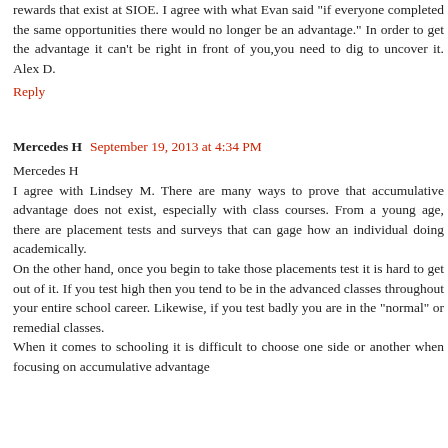rewards that exist at SIOE. I agree with what Evan said "if everyone completed the same opportunities there would no longer be an advantage." In order to get the advantage it can't be right in front of you,you need to dig to uncover it. Alex D.
Reply
Mercedes H  September 19, 2013 at 4:34 PM
Mercedes H
I agree with Lindsey M. There are many ways to prove that accumulative advantage does not exist, especially with class courses. From a young age, there are placement tests and surveys that can gage how an individual doing academically.
On the other hand, once you begin to take those placements test it is hard to get out of it. If you test high then you tend to be in the advanced classes throughout your entire school career. Likewise, if you test badly you are in the "normal" or remedial classes.
When it comes to schooling it is difficult to choose one side or another when focusing on accumulative advantage